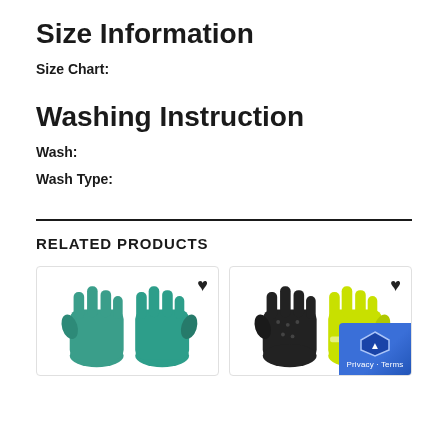Size Information
Size Chart:
Washing Instruction
Wash:
Wash Type:
RELATED PRODUCTS
[Figure (photo): Two teal/green rubber gloves side by side with a heart icon in top right corner]
[Figure (photo): Two gloves — one black textured and one yellow/hi-vis — side by side with a heart icon; privacy badge overlay in bottom right corner]